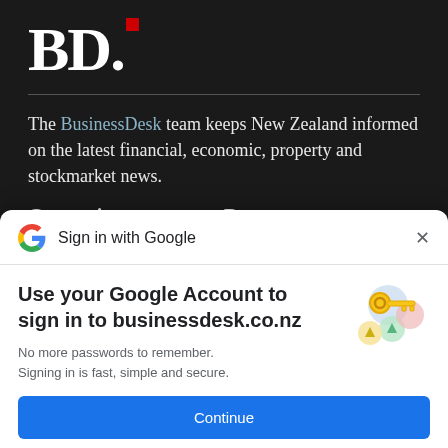[Figure (logo): BD. logo in white bold serif text with a small red square dot, on dark background]
The BusinessDesk team keeps New Zealand informed on the latest financial, economic, property and stockmarket news.
Categories    Browse
[Figure (screenshot): Google Sign-in modal dialog with header 'Sign in with Google', body text 'Use your Google Account to sign in to businessdesk.co.nz', subtitle 'No more passwords to remember. Signing in is fast, simple and secure.', a key illustration, and a blue Continue button.]